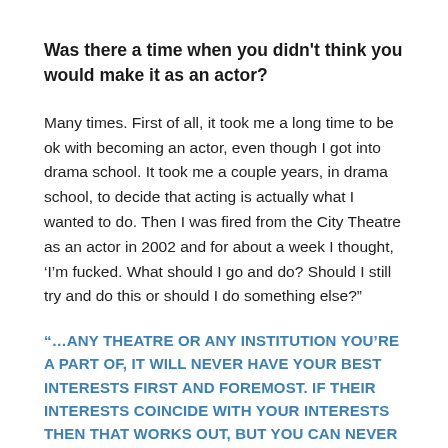Was there a time when you didn't think you would make it as an actor?
Many times. First of all, it took me a long time to be ok with becoming an actor, even though I got into drama school. It took me a couple years, in drama school, to decide that acting is actually what I wanted to do. Then I was fired from the City Theatre as an actor in 2002 and for about a week I thought, ‘I’m fucked. What should I go and do? Should I still try and do this or should I do something else?”
“…ANY THEATRE OR ANY INSTITUTION YOU’RE A PART OF, IT WILL NEVER HAVE YOUR BEST INTERESTS FIRST AND FOREMOST. IF THEIR INTERESTS COINCIDE WITH YOUR INTERESTS THEN THAT WORKS OUT, BUT YOU CAN NEVER AS AN ARTIST GIVE THE RESPONSIBILITY